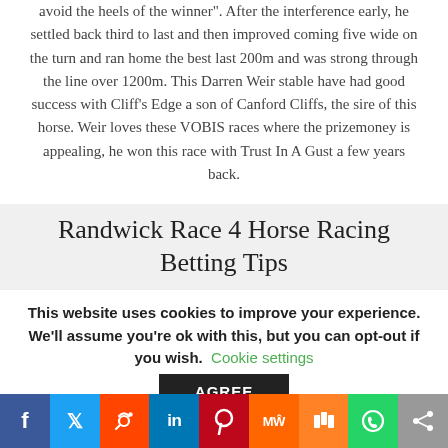avoid the heels of the winner". After the interference early, he settled back third to last and then improved coming five wide on the turn and ran home the best last 200m and was strong through the line over 1200m. This Darren Weir stable have had good success with Cliff’s Edge a son of Canford Cliffs, the sire of this horse. Weir loves these VOBIS races where the prizemoney is appealing, he won this race with Trust In A Gust a few years back.
Randwick Race 4 Horse Racing Betting Tips
This website uses cookies to improve your experience. We'll assume you're ok with this, but you can opt-out if you wish. Cookie settings
AGREE